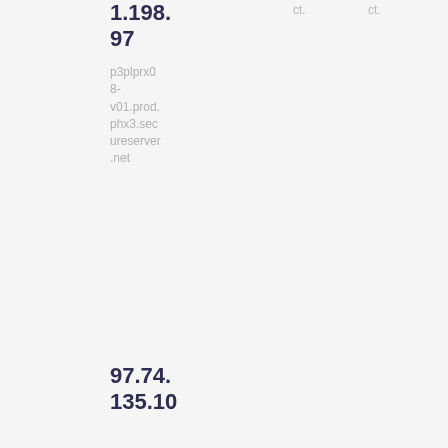| IP | Hostname | Col1 | Col2 |
| --- | --- | --- | --- |
| 1.198.97 | p3plprx08-v01.prod.phx3.secureserver.net | ct. | ct. |
| 97.74.135.10 | p3plprx03-v01.prod.phx3.secureserver.net |  |  |
| 173.201.192.158 | p3plprx07-v01.prod.phx3.sec... |  |  |